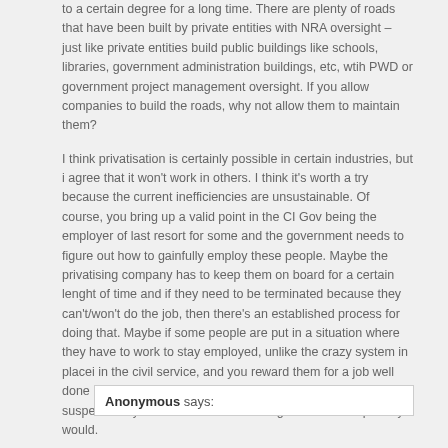to a certain degree for a long time. There are plenty of roads that have been built by private entities with NRA oversight – just like private entities build public buildings like schools, libraries, government administration buildings, etc, wtih PWD or government project management oversight. If you allow companies to build the roads, why not allow them to maintain them?
I think privatisation is certainly possible in certain industries, but i agree that it won't work in others. I think it's worth a try because the current inefficiencies are unsustainable. Of course, you bring up a valid point in the CI Gov being the employer of last resort for some and the government needs to figure out how to gainfully employ these people. Maybe the privatising company has to keep them on board for a certain lenght of time and if they need to be terminated because they can't/won't do the job, then there's an established process for doing that. Maybe if some people are put in a situation where they have to work to stay employed, unlike the crazy system in placei in the civil service, and you reward them for a job well done rather than the lenght of time they've been there, I suspect many would rise to the challenge. At least I hope they would.
Anonymous says: